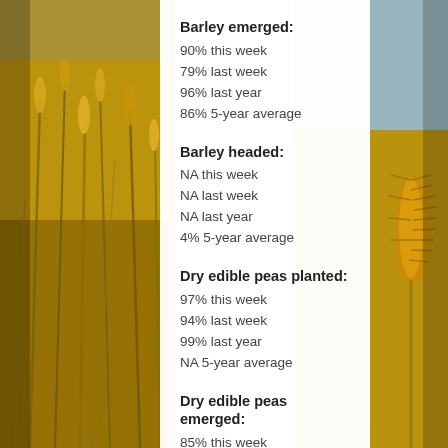[Figure (photo): Golden wheat/barley field close-up photo on left side]
[Figure (photo): Golden wheat/barley field close-up photo on right side]
Barley emerged:
90% this week
79% last week
96% last year
86% 5-year average
Barley headed:
NA this week
NA last week
NA last year
4% 5-year average
Dry edible peas planted:
97% this week
94% last week
99% last year
NA 5-year average
Dry edible peas emerged:
85% this week
79% last week
89% last year